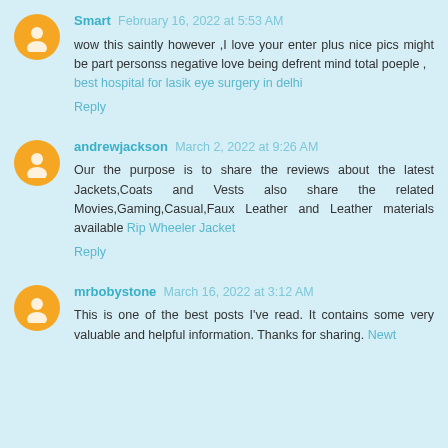Smart February 16, 2022 at 5:53 AM
wow this saintly however ,I love your enter plus nice pics might be part personss negative love being defrent mind total poeple ,
best hospital for lasik eye surgery in delhi
Reply
andrewjackson March 2, 2022 at 9:26 AM
Our the purpose is to share the reviews about the latest Jackets,Coats and Vests also share the related Movies,Gaming,Casual,Faux Leather and Leather materials available Rip Wheeler Jacket
Reply
mrbobystone March 16, 2022 at 3:12 AM
This is one of the best posts I've read. It contains some very valuable and helpful information. Thanks for sharing. Newt